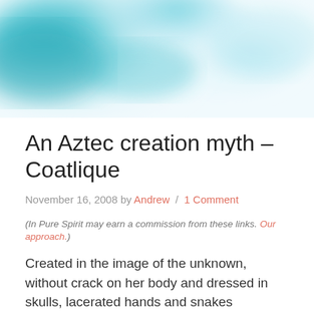[Figure (photo): Watercolor-style teal and light blue cloud/ink splash background image]
An Aztec creation myth – Coatlique
November 16, 2008 by Andrew / 1 Comment
(In Pure Spirit may earn a commission from these links. Our approach.)
Created in the image of the unknown, without crack on her body and dressed in skulls, lacerated hands and snakes Coatlique is the mother goddess in the Aztec creation myth. She is the Lady of the Skirt of